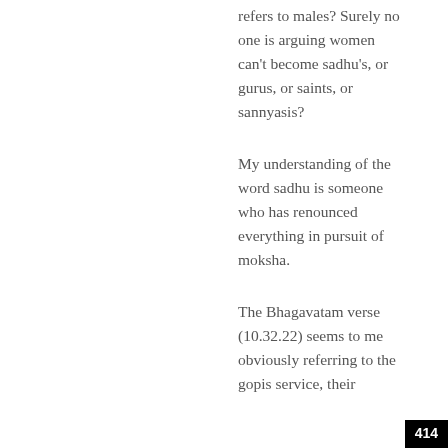refers to males? Surely no one is arguing women can't become sadhu's, or gurus, or saints, or sannyasis?
My understanding of the word sadhu is someone who has renounced everything in pursuit of moksha.
The Bhagavatam verse (10.32.22) seems to me obviously referring to the gopis service, their
414